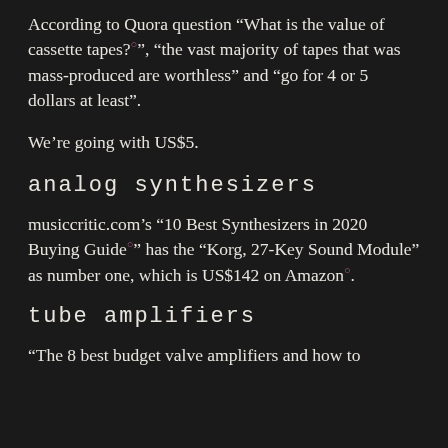According to Quora question “What is the value of cassette tapes?°”, “the vast majority of tapes that was mass-produced are worthless” and “go for 4 or 5 dollars at least”.
We’re going with US$5.
analog synthesizers
musiccritic.com’s “10 Best Synthesizers in 2020 Buying Guide°” has the “Korg, 27-Key Sound Module” as number one, which is US$142 on Amazon°.
tube amplifiers
“The 8 best budget valve amplifiers and how to